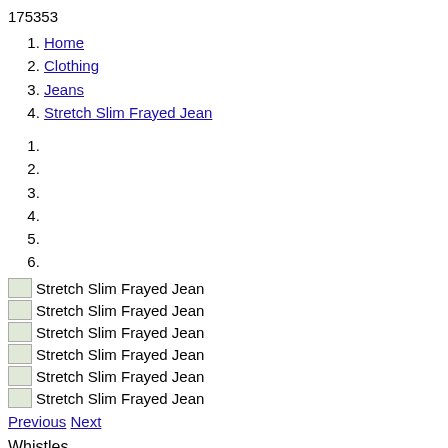175353
1. Home
2. Clothing
3. Jeans
4. Stretch Slim Frayed Jean
1.
2.
3.
4.
5.
6.
[Figure (photo): Stretch Slim Frayed Jean image 1]
[Figure (photo): Stretch Slim Frayed Jean image 2]
[Figure (photo): Stretch Slim Frayed Jean image 3]
[Figure (photo): Stretch Slim Frayed Jean image 4]
[Figure (photo): Stretch Slim Frayed Jean image 5]
[Figure (photo): Stretch Slim Frayed Jean image 6]
Previous Next
Whistles
Stretch Slim Frayed J…